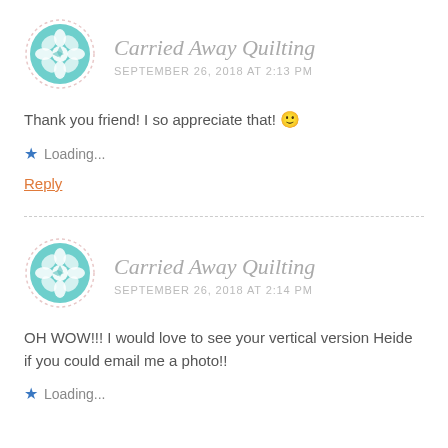[Figure (illustration): Teal/mint circular quilting logo avatar with dashed border, first comment]
Carried Away Quilting
SEPTEMBER 26, 2018 AT 2:13 PM
Thank you friend! I so appreciate that! 🙂
Loading...
Reply
[Figure (illustration): Teal/mint circular quilting logo avatar with dashed border, second comment]
Carried Away Quilting
SEPTEMBER 26, 2018 AT 2:14 PM
OH WOW!!! I would love to see your vertical version Heide if you could email me a photo!!
Loading...